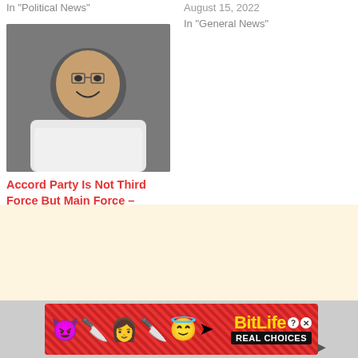In "Political News"
August 15, 2022
In "General News"
[Figure (photo): Portrait photo of a smiling man wearing glasses and a white shirt]
Accord Party Is Not Third Force But Main Force – Adelabu
August 14, 2022
In "General News"
[Figure (infographic): BitLife mobile game advertisement banner with emoji characters and red background, showing 'REAL CHOICES' tagline]